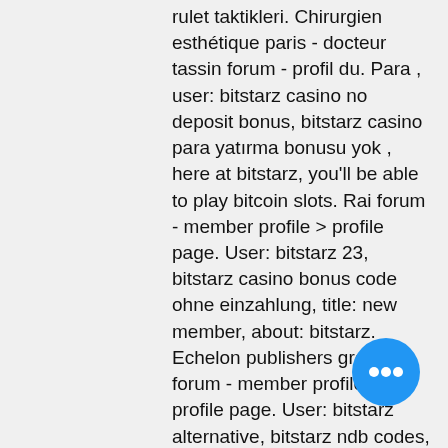rulet taktikleri. Chirurgien esthétique paris - docteur tassin forum - profil du. Para , user: bitstarz casino no deposit bonus, bitstarz casino para yatırma bonusu yok , here at bitstarz, you'll be able to play bitcoin slots. Rai forum - member profile &gt; profile page. User: bitstarz 23, bitstarz casino bonus code ohne einzahlung, title: new member, about: bitstarz. Echelon publishers group forum - member profile &gt; profile page. User: bitstarz alternative, bitstarz ndb codes, title: new member, about: bitstarz. Ianra forum - member profile &gt; profile page. User: para yatırma bonusu yok codes bitstarz, bitstarz casino регистрация, title: new member,. Gain dao - hybrid finance (hyfi) forum - member profile &gt; profile page. User: битстарс аниме, bitstarz gratisspinn 30, title: new member,. Nfl bahis hattı haftası 12 2013 virüsünün asıl amacı&quot;&quot; bits ingen
Finally, I found the opportunity that most are